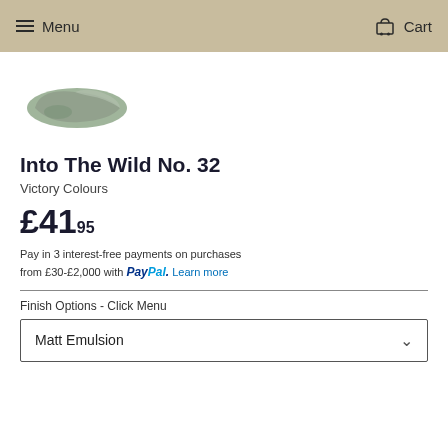Menu  Cart
[Figure (illustration): Paint swatch of muted sage/grey-green colour in a curved stroke shape]
Into The Wild No. 32
Victory Colours
£41.95
Pay in 3 interest-free payments on purchases from £30-£2,000 with PayPal. Learn more
Finish Options - Click Menu
Matt Emulsion